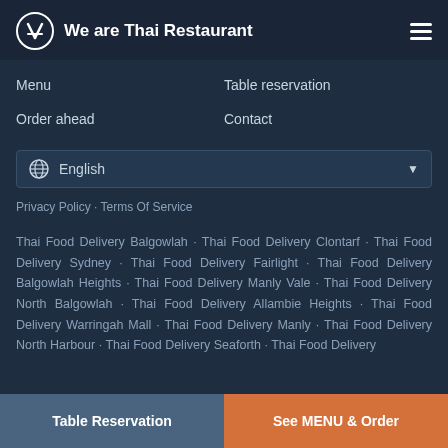We are Thai Restaurant
Menu
Table reservation
Order ahead
Contact
English
Privacy Policy · Terms Of Service
Thai Food Delivery Balgowlah · Thai Food Delivery Clontarf · Thai Food Delivery Sydney · Thai Food Delivery Fairlight · Thai Food Delivery Balgowlah Heights · Thai Food Delivery Manly Vale · Thai Food Delivery North Balgowlah · Thai Food Delivery Allambie Heights · Thai Food Delivery Warringah Mall · Thai Food Delivery Manly · Thai Food Delivery North Harbour · Thai Food Delivery Seaforth · Thai Food Delivery
Table Reservation | See MENU & Order